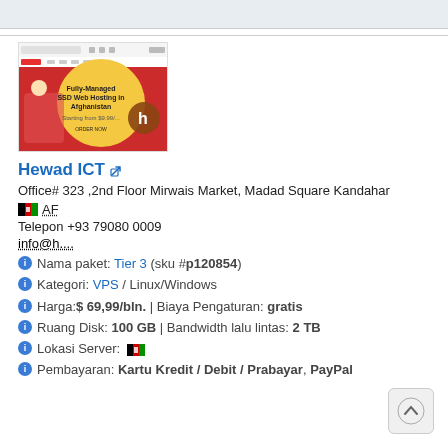[Figure (screenshot): Screenshot of Hewad ICT website showing 'Fully-Managed SSD Web Hosting in Afghanistan' banner]
Hewad ICT
Office# 323 ,2nd Floor Mirwais Market, Madad Square Kandahar
AF
Telepon +93 79080 0009
info@h....
Nama paket: Tier 3 (sku #p120854)
Kategori: VPS / Linux/Windows
Harga:$ 69,99/bln. | Biaya Pengaturan: gratis
Ruang Disk: 100 GB | Bandwidth lalu lintas: 2 TB
Lokasi Server:
Pembayaran: Kartu Kredit / Debit / Prabayar, PayPal